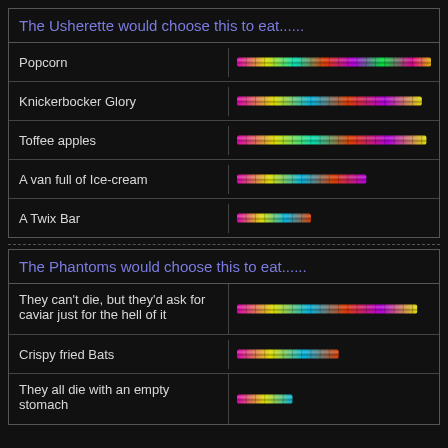The Usherette would choose this to eat......
| Item | Rating bar |
| --- | --- |
| Popcorn | [long bar] |
| Knickerbocker Glory | [long bar] |
| Toffee apples | [long bar] |
| A van full of Ice-cream | [medium bar] |
| A Twix Bar | [short bar] |
The Phantoms would choose this to eat......
| Item | Rating bar |
| --- | --- |
| They can't die, but they'd ask for caviar just for the hell of it | [long bar] |
| Crispy fried Bats | [medium bar] |
| They all die with an empty stomach | [short bar] |